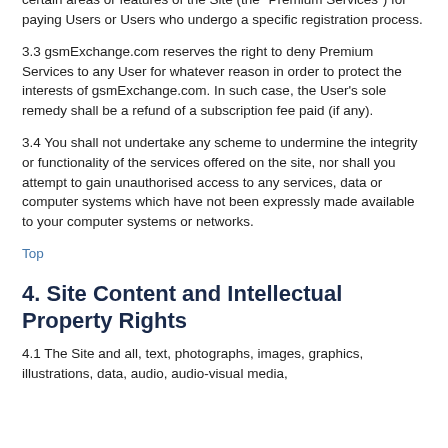certain areas or features of the Site (the "Premium Services") for paying Users or Users who undergo a specific registration process.
3.3 gsmExchange.com reserves the right to deny Premium Services to any User for whatever reason in order to protect the interests of gsmExchange.com. In such case, the User's sole remedy shall be a refund of a subscription fee paid (if any).
3.4 You shall not undertake any scheme to undermine the integrity or functionality of the services offered on the site, nor shall you attempt to gain unauthorised access to any services, data or computer systems which have not been expressly made available to your computer systems or networks.
Top
4. Site Content and Intellectual Property Rights
4.1 The Site and all, text, photographs, images, graphics, illustrations, data, audio, audio-visual media,